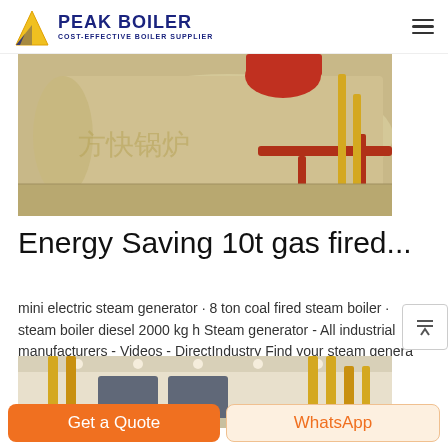PEAK BOILER · COST-EFFECTIVE BOILER SUPPLIER
[Figure (photo): Industrial gas-fired boiler installation showing a large horizontal cylindrical boiler tank with red and yellow pipe fittings in an industrial facility]
Energy Saving 10t gas fired...
mini electric steam generator · 8 ton coal fired steam boiler · steam boiler diesel 2000 kg h Steam generator - All industrial manufacturers - Videos - DirectIndustry Find your steam genera...
[Figure (photo): Industrial boiler room with yellow piping and multiple boiler units visible in a large factory space]
Get a Quote
WhatsApp